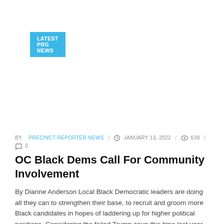LATEST PRG NEWS
BY PRECINCT REPORTER NEWS / JANUARY 13, 2022 / 639 / 0
OC Black Dems Call For Community Involvement
By Dianne Anderson Local Black Democratic leaders are doing all they can to strengthen their base, to recruit and groom more Black candidates in hopes of laddering up for higher political positions. Considering the failed Trump coup this time last year, nothing should be left to chance going into the coming election. Tustin Mayor Letitia ...